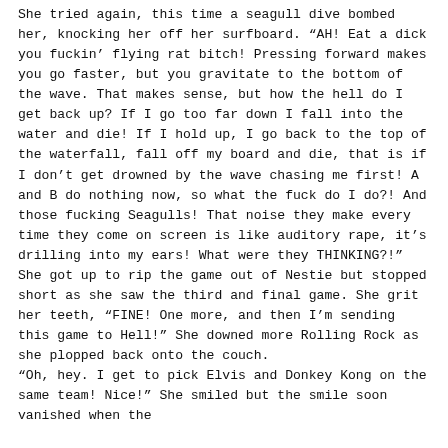She tried again, this time a seagull dive bombed her, knocking her off her surfboard. “AH! Eat a dick you fuckin’ flying rat bitch! Pressing forward makes you go faster, but you gravitate to the bottom of the wave. That makes sense, but how the hell do I get back up? If I go too far down I fall into the water and die! If I hold up, I go back to the top of the waterfall, fall off my board and die, that is if I don’t get drowned by the wave chasing me first! A and B do nothing now, so what the fuck do I do?! And those fucking Seagulls! That noise they make every time they come on screen is like auditory rape, it’s drilling into my ears! What were they THINKING?!” She got up to rip the game out of Nestie but stopped short as she saw the third and final game. She grit her teeth, “FINE! One more, and then I’m sending this game to Hell!” She downed more Rolling Rock as she plopped back onto the couch.
“Oh, hey. I get to pick Elvis and Donkey Kong on the same team! Nice!” She smiled but the smile soon vanished when the